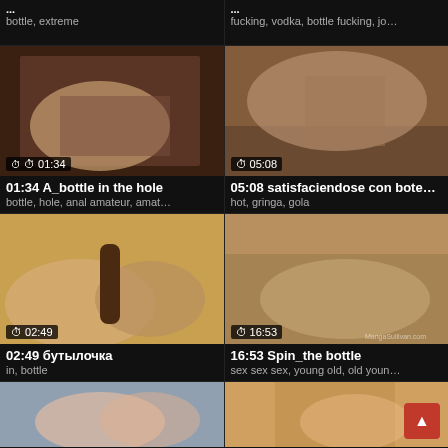bottle, extreme
fucking, vodka, bottle fucking, jo…
[Figure (photo): Video thumbnail 01:34 A_bottle in the hole]
01:34 A_bottle in the hole
bottle, hole, anal amateur, amat…
[Figure (photo): Video thumbnail 05:08 satisfaciendose con bote…]
05:08 satisfaciendose con bote…
hot, gringa, gola
[Figure (photo): Video thumbnail 02:49 бутылочка]
02:49 бутылочка
in, bottle
[Figure (photo): Video thumbnail 16:53 Spin_the bottle]
16:53 Spin_the bottle
sex sex sex, young old, old youn…
[Figure (photo): Video thumbnail bottom left, partial]
[Figure (photo): Video thumbnail bottom right, partial]